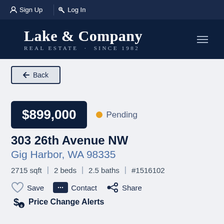Sign Up | Log In
[Figure (logo): Lake & Company Real Estate Since 1982 logo on dark navy background]
← Back
$899,000  ● Pending
303 26th Avenue NW
Gig Harbor, WA 98335
2715 sqft  |  2 beds  |  2.5 baths  |  #1516102
♡ Save  Contact  Share
$ Price Change Alerts